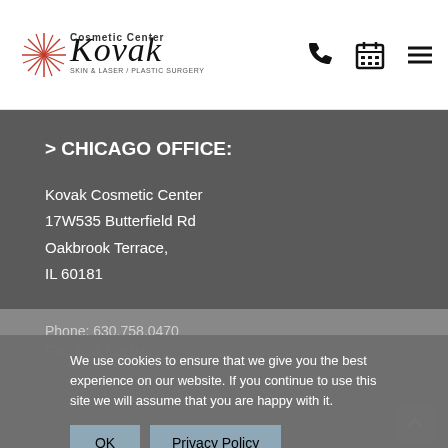[Figure (logo): Kovak Cosmetic Center logo with star/asterisk design and text 'Cosmetic Center SKIN & LASER / PLASTIC SURGERY', plus phone, calendar, and hamburger menu icons in header]
> CHICAGO OFFICE:
Kovak Cosmetic Center
17W535 Butterfield Rd
Oakbrook Terrace,
IL 60181
Phone: 630.758.0470
Fax: 630.758.0471
We use cookies to ensure that we give you the best experience on our website. If you continue to use this site we will assume that you are happy with it.